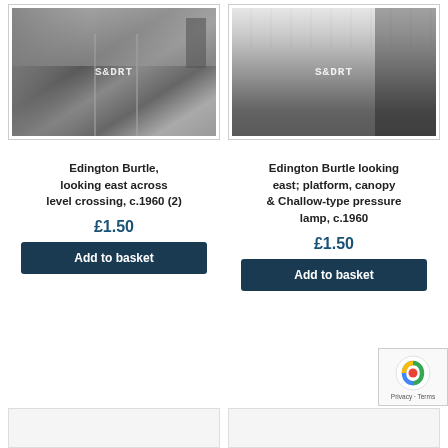[Figure (photo): Black and white photograph of Edington Burtle railway level crossing looking east, c.1960, with S&DRT watermark]
[Figure (photo): Black and white photograph of Edington Burtle station platform looking east, showing canopy and Challow-type pressure lamp, c.1960, with S&DRT watermark]
Edington Burtle, looking east across level crossing, c.1960 (2)
Edington Burtle looking east; platform, canopy & Challow-type pressure lamp, c.1960
£1.50
£1.50
Add to basket
Add to basket